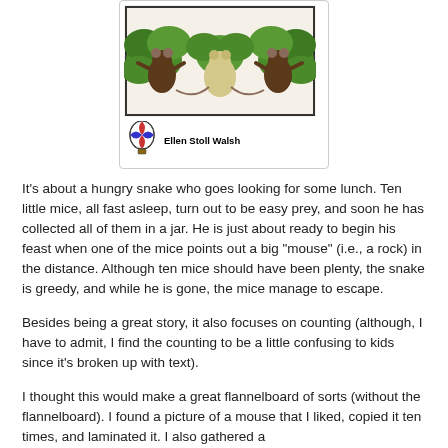[Figure (illustration): Book cover showing illustrated mice/animals in trees, with author name Ellen Stoll Walsh and a hot air balloon publisher logo]
It's about a hungry snake who goes looking for some lunch. Ten little mice, all fast asleep, turn out to be easy prey, and soon he has collected all of them in a jar. He is just about ready to begin his feast when one of the mice points out a big "mouse" (i.e., a rock) in the distance. Although ten mice should have been plenty, the snake is greedy, and while he is gone, the mice manage to escape.
Besides being a great story, it also focuses on counting (although, I have to admit, I find the counting to be a little confusing to kids since it's broken up with text).
I thought this would make a great flannelboard of sorts (without the flannelboard). I found a picture of a mouse that I liked, copied it ten times, and laminated it. I also gathered a